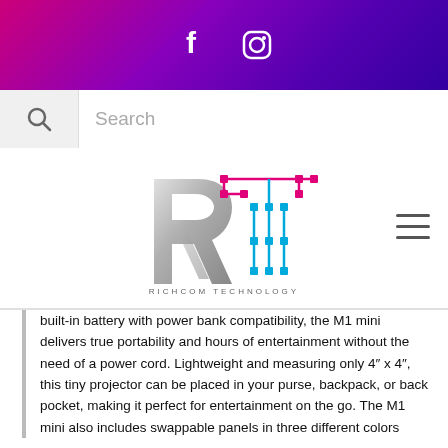f  [Instagram icon]
[Figure (screenshot): Search bar with magnifying glass icon and 'Search' placeholder text]
[Figure (logo): Richcom Technology logo — silver R letter with pink circuit-board T design, text 'RICHCOM TECHNOLOGY' below]
built-in battery with power bank compatibility, the M1 mini delivers true portability and hours of entertainment without the need of a power cord. Lightweight and measuring only 4" x 4", this tiny projector can be placed in your purse, backpack, or back pocket, making it perfect for entertainment on the go. The M1 mini also includes swappable panels in three different colors